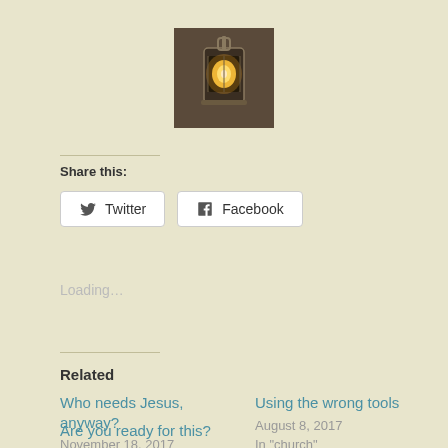[Figure (photo): A glowing kerosene/oil lantern against a dark background]
Share this:
[Figure (other): Twitter share button]
[Figure (other): Facebook share button]
Loading…
Related
Who needs Jesus, anyway?
November 18, 2017
In "church"
Using the wrong tools
August 8, 2017
In "church"
Are you ready for this?